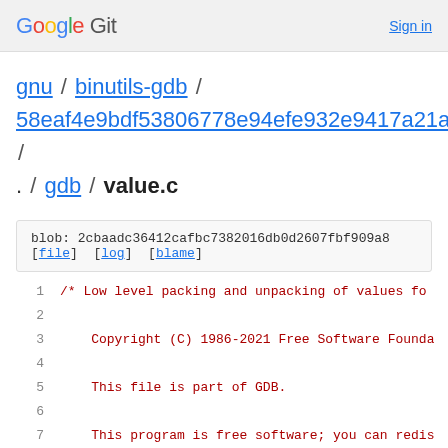Google Git  Sign in
gnu / binutils-gdb / 58eaf4e9bdf53806778e94efe932e9417a21a306 / . / gdb / value.c
blob: 2cbaadc36412cafbc7382016db0d2607fbf909a8 [file] [log] [blame]
1  /* Low level packing and unpacking of values fo
2
3      Copyright (C) 1986-2021 Free Software Founda
4
5      This file is part of GDB.
6
7      This program is free software; you can redis
8      it under the terms of the GNU General Public
9      the Free Software Foundation; either version
10     (at your option) any later version.